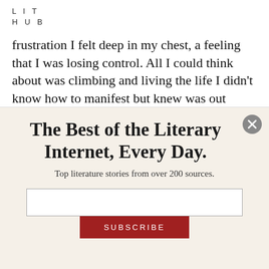LIT HUB
frustration I felt deep in my chest, a feeling that I was losing control. All I could think about was climbing and living the life I didn't know how to manifest but knew was out there.

The finances grew tighter every day as I struggled to find job a that matched my recently
The Best of the Literary Internet, Every Day.
Top literature stories from over 200 sources.